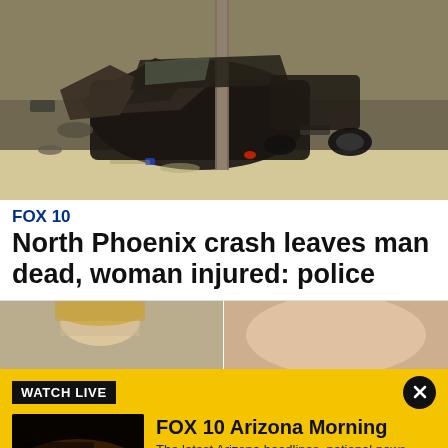[Figure (photo): Aerial view of a severely wrecked dark-colored vehicle that has crashed into a pole, with debris scattered on a desert surface]
FOX 10
North Phoenix crash leaves man dead, woman injured: police
[Figure (photo): Partial view of a second news image strip, showing a blonde person on the left half and a close-up of a hand on the right half]
WATCH LIVE
[Figure (screenshot): FOX 10 Phoenix thumbnail showing a desert sunrise/sunset sky with the FOX 10 logo and a play button]
FOX 10 Arizona Morning
The latest Arizona headlines, national news events of the day + sports and weather updates.